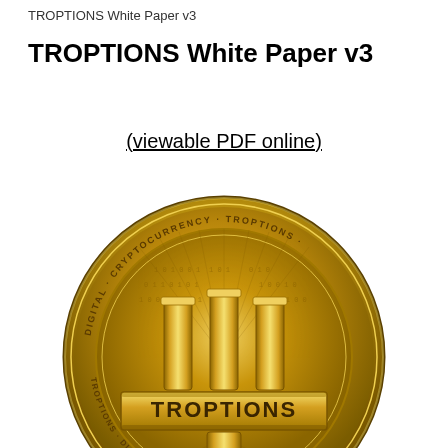TROPTIONS White Paper v3
TROPTIONS White Paper v3
(viewable PDF online)
[Figure (logo): Gold TROPTIONS digital cryptocurrency coin logo with binary code pattern and 'TROPTIONS' text on a gold banner across the center]